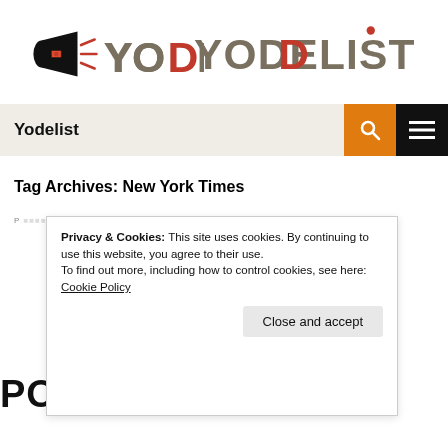[Figure (logo): Yodelist logo with megaphone icon and stylized text]
Yodelist
Tag Archives: New York Times
Privacy & Cookies: This site uses cookies. By continuing to use this website, you agree to their use. To find out more, including how to control cookies, see here: Cookie Policy
Close and accept
PODCAST.